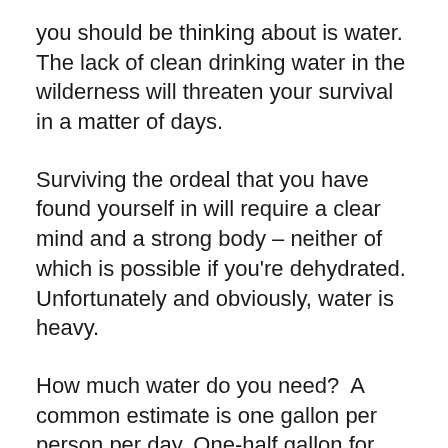you should be thinking about is water. The lack of clean drinking water in the wilderness will threaten your survival in a matter of days.
Surviving the ordeal that you have found yourself in will require a clear mind and a strong body – neither of which is possible if you're dehydrated. Unfortunately and obviously, water is heavy.
How much water do you need?  A common estimate is one gallon per person per day. One-half gallon for drinking and the other half gallon for cooking and sanitation. At a minimum, you will need one liter a day just to replace the liquid that is lost through urination, perspiration, and exhaling.